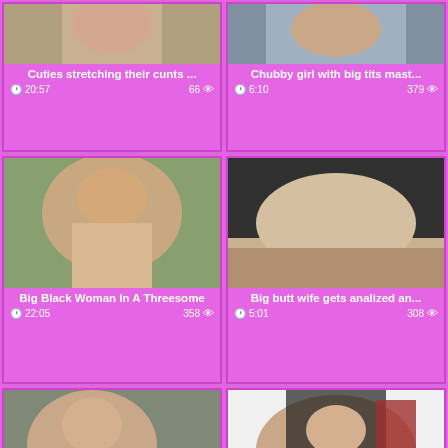[Figure (photo): Video thumbnail - top left, partially visible]
Cuties stretching their cunts ...
20:57  66
[Figure (photo): Video thumbnail - top right, partially visible]
Chubby girl with big tits mast...
6:10  379
[Figure (photo): Big Black Woman In A Threesome thumbnail]
Big Black Woman In A Threesome
22:05  358
[Figure (photo): Big butt wife gets analized thumbnail]
Big butt wife gets analized an...
5:01  308
[Figure (photo): Ich XXL Ficke mein Gummischw thumbnail]
Ich XXL , Ficke mein Gummischw...
3:17  91
[Figure (photo): British gilf Alisha Rydes plea thumbnail]
British gilf Alisha Rydes plea...
12:26  88